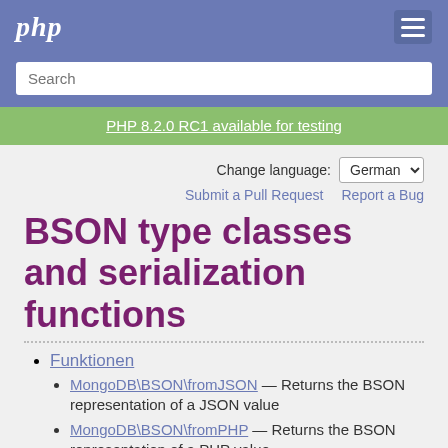php
Search
PHP 8.2.0 RC1 available for testing
Change language: German
Submit a Pull Request   Report a Bug
BSON type classes and serialization functions
Funktionen
MongoDB\BSON\fromJSON — Returns the BSON representation of a JSON value
MongoDB\BSON\fromPHP — Returns the BSON representation of a PHP value
MongoDB\BSON\toCanonicalExtendedJSON —